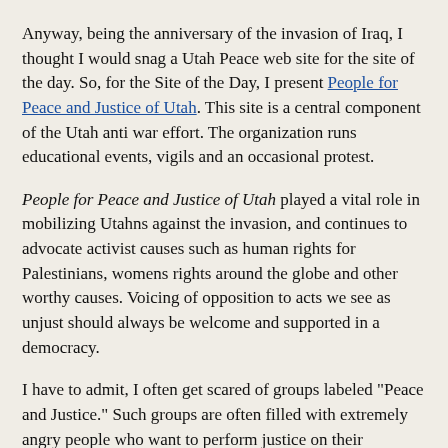Anyway, being the anniversary of the invasion of Iraq, I thought I would snag a Utah Peace web site for the site of the day. So, for the Site of the Day, I present People for Peace and Justice of Utah. This site is a central component of the Utah anti war effort. The organization runs educational events, vigils and an occasional protest.
People for Peace and Justice of Utah played a vital role in mobilizing Utahns against the invasion, and continues to advocate activist causes such as human rights for Palestinians, womens rights around the globe and other worthy causes. Voicing of opposition to acts we see as unjust should always be welcome and supported in a democracy.
I have to admit, I often get scared of groups labeled "Peace and Justice." Such groups are often filled with extremely angry people who want to perform justice on their enemies. In history we see attempts to exterminate groups like the Jews as an act of Justice.
Personally, I was opposed to the invasion of Iraq. I do not believe that the invasion was the most judicious use of the political capital the U.S. gained after the Twin Tower attacks. That political capital would have been better spent on...